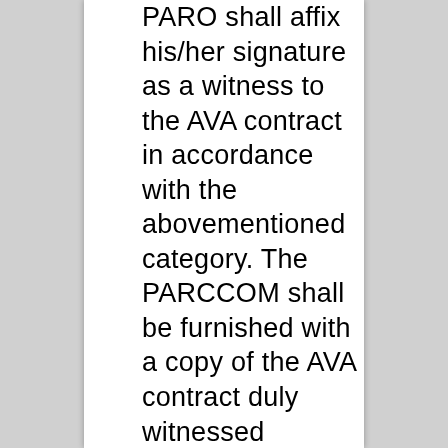PARO shall affix his/her signature as a witness to the AVA contract in accordance with the abovementioned category. The PARCCOM shall be furnished with a copy of the AVA contract duly witnessed